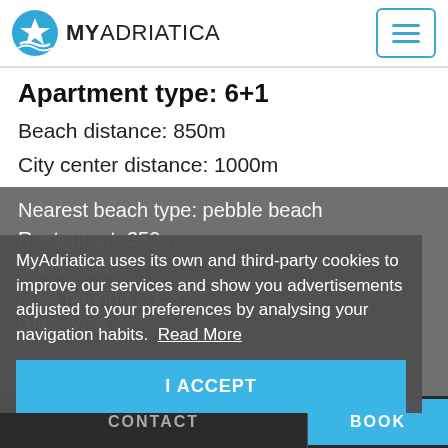MY ADRIATICA
Apartment type: 6+1
Beach distance: 850m
City center distance: 1000m
Nearest beach type: pebble beach
Restaurant: 350m
Shop: 550m
Free parking: YES
WiFi: YES
MyAdriatica uses its own and third-party cookies to improve our services and show you advertisements adjusted to your preferences by analysing your navigation habits. Read More
I ACCEPT
CONTACT    BOOK